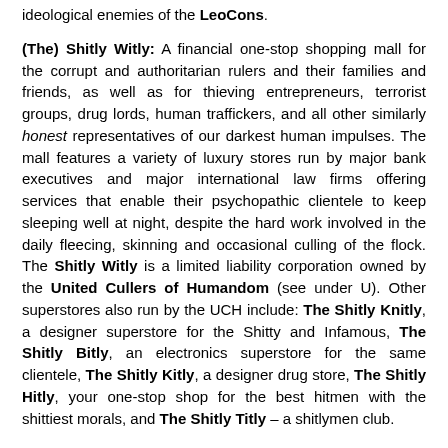ideological enemies of the LeoCons.
(The) Shitly Witly: A financial one-stop shopping mall for the corrupt and authoritarian rulers and their families and friends, as well as for thieving entrepreneurs, terrorist groups, drug lords, human traffickers, and all other similarly honest representatives of our darkest human impulses. The mall features a variety of luxury stores run by major bank executives and major international law firms offering services that enable their psychopathic clientele to keep sleeping well at night, despite the hard work involved in the daily fleecing, skinning and occasional culling of the flock. The Shitly Witly is a limited liability corporation owned by the United Cullers of Humandom (see under U). Other superstores also run by the UCH include: The Shitly Knitly, a designer superstore for the Shitty and Infamous, The Shitly Bitly, an electronics superstore for the same clientele, The Shitly Kitly, a designer drug store, The Shitly Hitly, your one-stop shop for the best hitmen with the shittiest morals, and The Shitly Titly – a shitlymen club.
(The) Shit Shat: A sex game that is quite popular within the